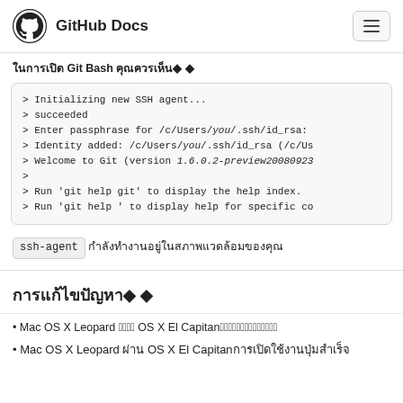GitHub Docs
ในการเปิด Git Bash คุณควรเห็น♦ ♦
> Initializing new SSH agent...
> succeeded
> Enter passphrase for /c/Users/you/.ssh/id_rsa:
> Identity added: /c/Users/you/.ssh/id_rsa (/c/Us
> Welcome to Git (version 1.6.0.2-preview20080923
>
> Run 'git help git' to display the help index.
> Run 'git help ' to display help for specific co
ssh-agent กำลังทำงานอยู่ในสภาพแวดล้อมของคุณ
การแก้ไขปัญหา♦ ♦
• Mac OS X Leopard ผ่าน OS X El Capitanการเปิดใช้งานปุ่มสำเร็จ